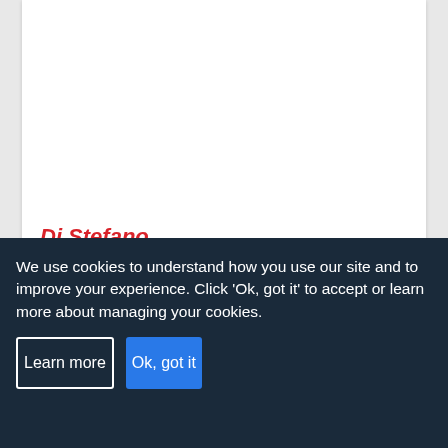[Figure (screenshot): White card area (hotel image placeholder, top portion)]
Di Stefano
Pisa City, Pisa
★★★ Our rating | TripAdvisor: 4.5/5 Based on 675 reviews
0.7 Km to Battistero
We use cookies to understand how you use our site and to improve your experience. Click 'Ok, got it' to accept or learn more about managing your cookies.
Learn more
Ok, got it